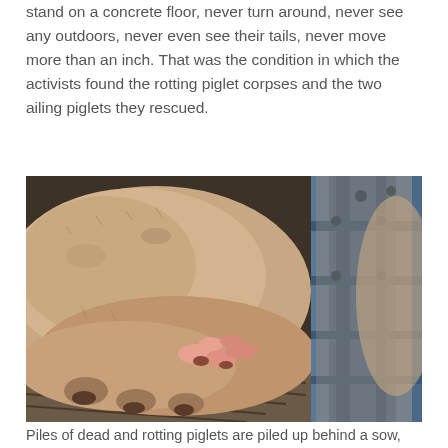stand on a concrete floor, never turn around, never see any outdoors, never even see their tails, never move more than an inch. That was the condition in which the activists found the rotting piglet corpses and the two ailing piglets they rescued.
[Figure (photo): A large sow wedged tightly into a farrowing crate on a slatted floor, with small piglets visible beneath her and blue metal bars of the crate visible on the right side.]
Piles of dead and rotting piglets are piled up behind a sow, who is wedged into a crate so tightly that she cannot move.